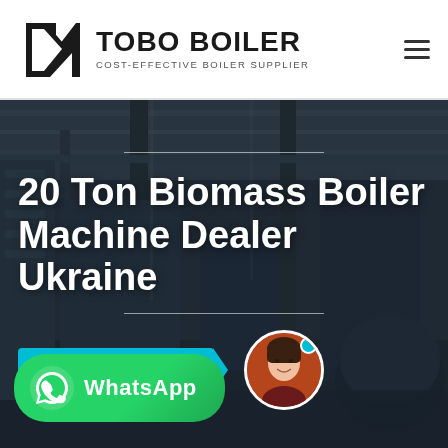[Figure (logo): TOBO BOILER logo with geometric icon on left and bold text 'TOBO BOILER' with tagline 'COST-EFFECTIVE BOILER SUPPLIER' below]
20 Ton Biomass Boiler Machine Dealer Ukraine
[Figure (photo): Industrial factory/warehouse interior background photo showing manufacturing equipment, cranes, and large machinery in a dark, dramatic lighting]
Hey, let me help you!
[Figure (photo): Chat avatar: circular photo of a smiling Asian woman with a cyan online indicator dot]
[Figure (logo): WhatsApp button with green background, WhatsApp icon, and text 'WhatsApp']